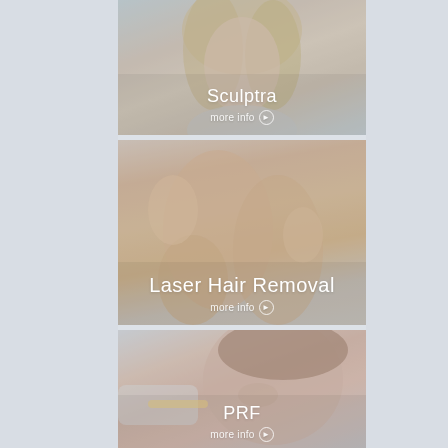[Figure (photo): Photo of a smiling blonde woman with overlay text 'Sculptra' and 'more info' button. Medical/cosmetic treatment promotional card.]
Sculptra
more info ▶
[Figure (photo): Photo of a woman's smooth legs with hands touching them, with overlay text 'Laser Hair Removal' and 'more info' button. Medical/cosmetic treatment promotional card.]
Laser Hair Removal
more info ▶
[Figure (photo): Photo of a woman receiving a facial injection near her eye, with overlay text 'PRF' and 'more info' button. Medical/cosmetic treatment promotional card.]
PRF
more info ▶